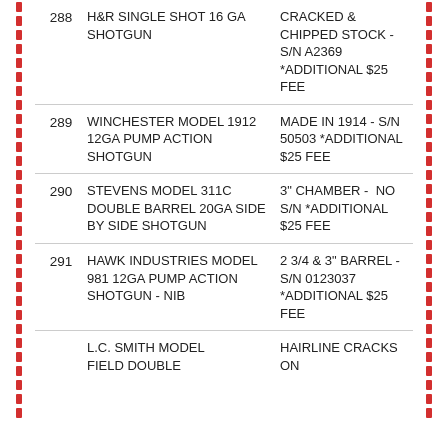| Lot | Item | Description |
| --- | --- | --- |
| 288 | H&R SINGLE SHOT 16 GA SHOTGUN | CRACKED & CHIPPED STOCK - S/N A2369 *ADDITIONAL $25 FEE |
| 289 | WINCHESTER MODEL 1912 12GA PUMP ACTION SHOTGUN | MADE IN 1914 - S/N 50503 *ADDITIONAL $25 FEE |
| 290 | STEVENS MODEL 311C DOUBLE BARREL 20GA SIDE BY SIDE SHOTGUN | 3" CHAMBER - NO S/N *ADDITIONAL $25 FEE |
| 291 | HAWK INDUSTRIES MODEL 981 12GA PUMP ACTION SHOTGUN - NIB | 2 3/4 & 3" BARREL - S/N 0123037 *ADDITIONAL $25 FEE |
| 292 | L.C. SMITH MODEL FIELD DOUBLE... | HAIRLINE CRACKS ON |